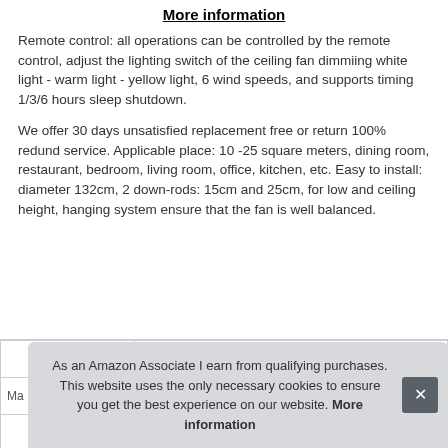More information
Remote control: all operations can be controlled by the remote control, adjust the lighting switch of the ceiling fan dimmiing white light - warm light - yellow light, 6 wind speeds, and supports timing 1/3/6 hours sleep shutdown.
We offer 30 days unsatisfied replacement free or return 100% redund service. Applicable place: 10 -25 square meters, dining room, restaurant, bedroom, living room, office, kitchen, etc. Easy to install: diameter 132cm, 2 down-rods: 15cm and 25cm, for low and ceiling height, hanging system ensure that the fan is well balanced.
As an Amazon Associate I earn from qualifying purchases. This website uses the only necessary cookies to ensure you get the best experience on our website. More information